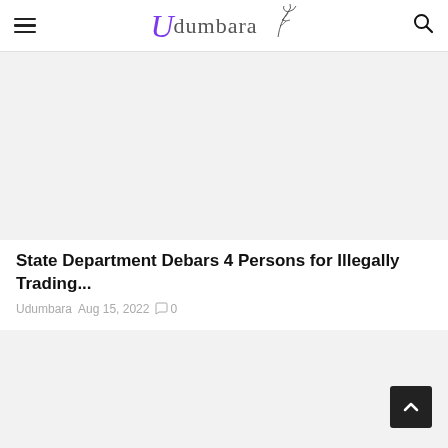Udumbara
[Figure (illustration): Gray placeholder image area for article thumbnail]
State Department Debars 4 Persons for Illegally Trading...
Udumbara  Aug 15, 2022  0
[Figure (illustration): Gray placeholder image area for second article thumbnail]